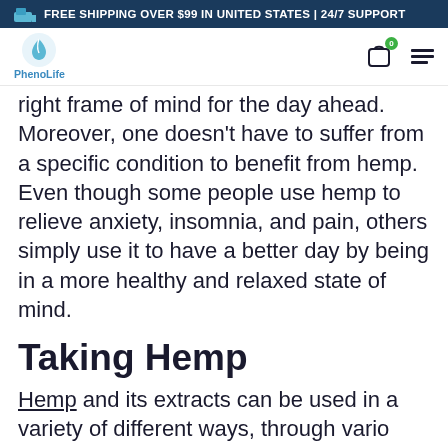FREE SHIPPING OVER $99 IN UNITED STATES | 24/7 SUPPORT
[Figure (logo): PhenoLife logo with cart and hamburger menu]
right frame of mind for the day ahead. Moreover, one doesn't have to suffer from a specific condition to benefit from hemp. Even though some people use hemp to relieve anxiety, insomnia, and pain, others simply use it to have a better day by being in a more healthy and relaxed state of mind.
Taking Hemp
Hemp and its extracts can be used in a variety of different ways, through various delivery methods. Some people prefer to ingest the active compounds in an oil or